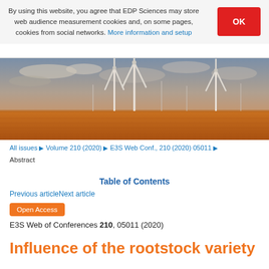By using this website, you agree that EDP Sciences may store web audience measurement cookies and, on some pages, cookies from social networks. More information and setup
[Figure (photo): Banner photo of wind turbines standing over a golden wheat field under a cloudy sky]
All issues ▶ Volume 210 (2020) ▶ E3S Web Conf., 210 (2020) 05011 ▶
Abstract
Table of Contents
Previous articleNext article
Open Access
E3S Web of Conferences 210, 05011 (2020)
Influence of the rootstock variety